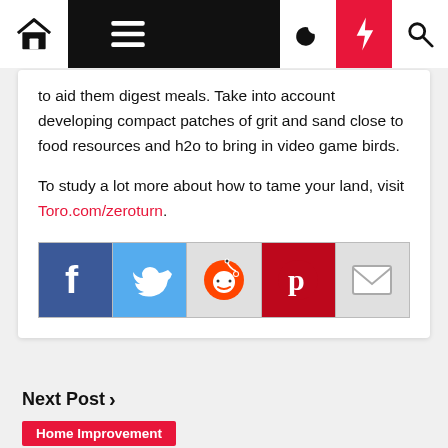Navigation bar with home, menu, dark mode, lightning, and search icons
to aid them digest meals. Take into account developing compact patches of grit and sand close to food resources and h2o to bring in video game birds.
To study a lot more about how to tame your land, visit Toro.com/zeroturn.
[Figure (infographic): Social media sharing icons: Facebook, Twitter, Reddit, Pinterest, Email]
Next Post ›
Home Improvement
At Home: Put down the drill and